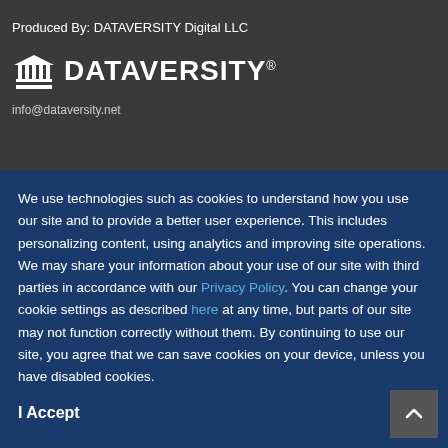Produced By: DATAVERSITY Digital LLC
[Figure (logo): DATAVERSITY logo with building/columns icon and DATAVERSITY® wordmark in white on dark grey background]
info@dataversity.net
We use technologies such as cookies to understand how you use our site and to provide a better user experience. This includes personalizing content, using analytics and improving site operations. We may share your information about your use of our site with third parties in accordance with our Privacy Policy. You can change your cookie settings as described here at any time, but parts of our site may not function correctly without them. By continuing to use our site, you agree that we can save cookies on your device, unless you have disabled cookies.
I Accept